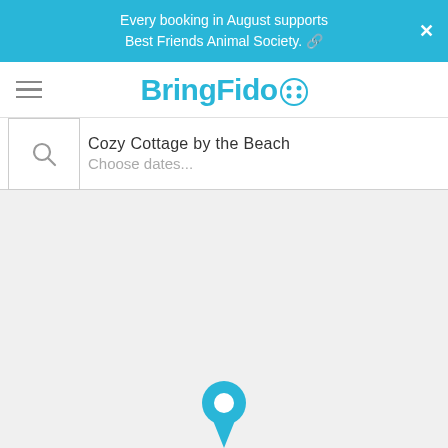Every booking in August supports Best Friends Animal Society.
BringFido
Cozy Cottage by the Beach
Choose dates...
[Figure (illustration): Map pin / location marker icon partially visible at bottom center of the page]